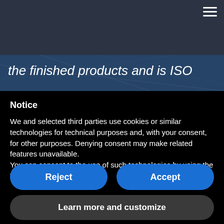≡
[Figure (photo): Dark blue header banner with navigation hamburger menu icon at top right, overlaid on a dark industrial/wire mesh background image]
the finished products and is ISO
Notice
We and selected third parties use cookies or similar technologies for technical purposes and, with your consent, for other purposes. Denying consent may make related features unavailable.
You can consent to the use of such technologies by using the "Accept" button.
Reject
Accept
Learn more and customize